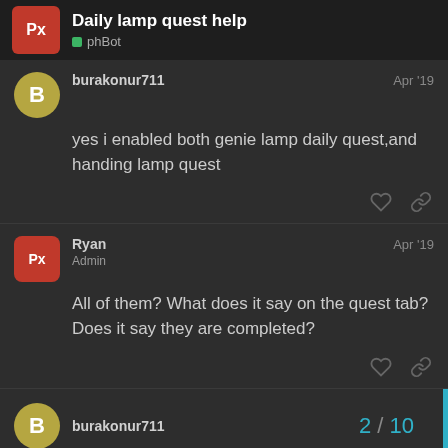Daily lamp quest help — phBot
burakonur711 Apr '19
yes i enabled both genie lamp daily quest,and handing lamp quest
Ryan Admin Apr '19
All of them? What does it say on the quest tab? Does it say they are completed?
burakonur711 2 / 10